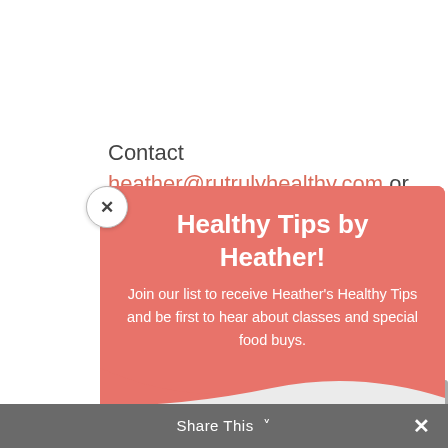Contact heather@rutrulyhealthy.com or 770-
7-5298 for questions.
If you...
feel p...
Heather Welsh is a C... Advocate and local food Consultant. Her Goal is to help bring quality nutrient-dense local food to families and children in the most affordable manner possible. Servi... over 10 years as a Weston C Price Chapter leader, offering Local Food, Cooking and Fermentation Classes and leading tours at season. Pasture B... Farmer and Consulta
Healthy Tips by Heather!
Join our list to receive Heather's Healthy Tips and be first to hear about classes and special food buys.
Email
SUBSCRIBE!
Share This ∨